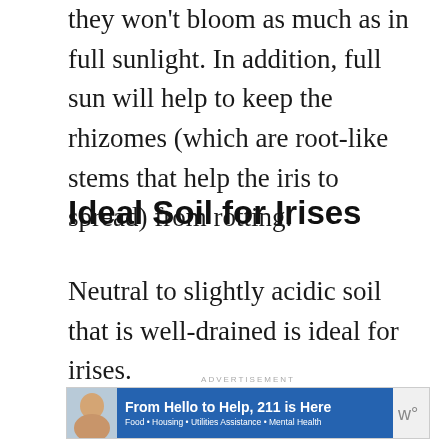they won't bloom as much as in full sunlight. In addition, full sun will help to keep the rhizomes (which are root-like stems that help the iris to spread) from rotting.
Ideal Soil for Irises
Neutral to slightly acidic soil that is well-drained is ideal for irises.
[Figure (other): Advertisement banner reading 'From Hello to Help, 211 is Here' with subtext 'Food • Housing • Utilities Assistance • Mental Health']